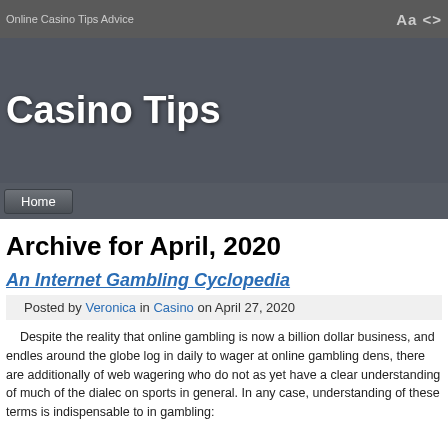Online Casino Tips Advice
Casino Tips
Home
Archive for April, 2020
An Internet Gambling Cyclopedia
Posted by Veronica in Casino on April 27, 2020
Despite the reality that online gambling is now a billion dollar business, and endless around the globe log in daily to wager at online gambling dens, there are additionally of web wagering who do not as yet have a clear understanding of much of the dialec on sports in general. In any case, understanding of these terms is indispensable to in gambling: